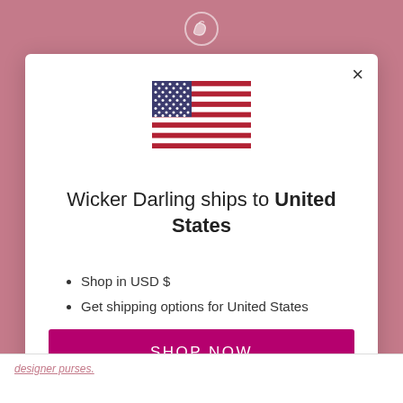[Figure (screenshot): Website modal dialog for Wicker Darling shipping country selection showing US flag, text, bullet points, and action buttons]
Wicker Darling ships to United States
Shop in USD $
Get shipping options for United States
SHOP NOW
CHANGE SHIPPING COUNTRY
designer purses.